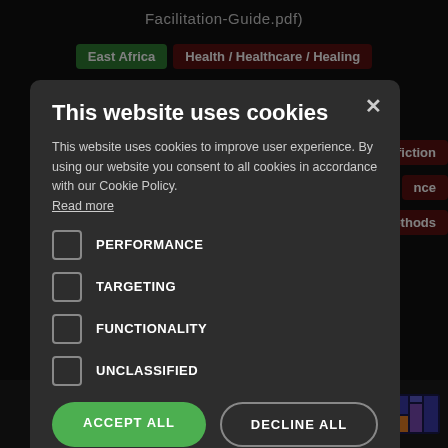Facilitation-Guide.pdf)
East Africa   Health / Healthcare / Healing
Ethnofiction
nce
methods
This website uses cookies
This website uses cookies to improve user experience. By using our website you consent to all cookies in accordance with our Cookie Policy. Read more
PERFORMANCE
TARGETING
FUNCTIONALITY
UNCLASSIFIED
ACCEPT ALL
DECLINE ALL
SHOW DETAILS
y NomadIT